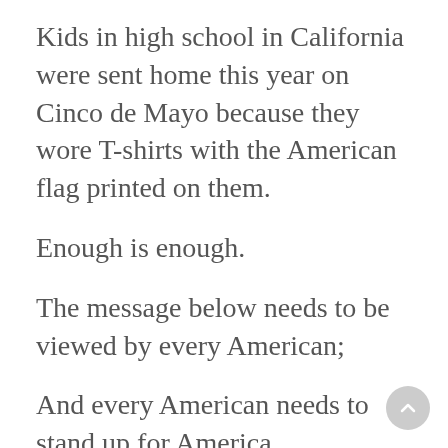Kids in high school in California were sent home this year on Cinco de Mayo because they wore T-shirts with the American flag printed on them.
Enough is enough.
The message below needs to be viewed by every American;
And every American needs to stand up for America.
We've bent over to appease the America-haters long enough...